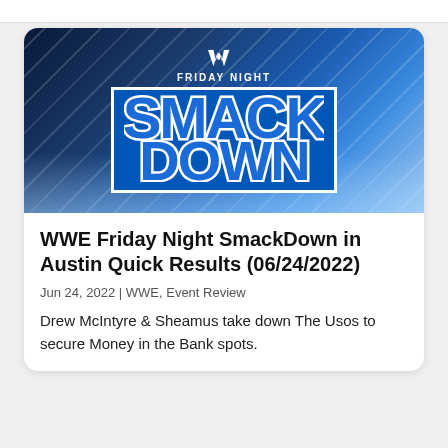[Figure (photo): WWE Friday Night SmackDown promotional image with blue arena background, light beams, and large SmackDown logo text on dark blue background]
WWE Friday Night SmackDown in Austin Quick Results (06/24/2022)
Jun 24, 2022 | WWE, Event Review
Drew McIntyre & Sheamus take down The Usos to secure Money in the Bank spots.